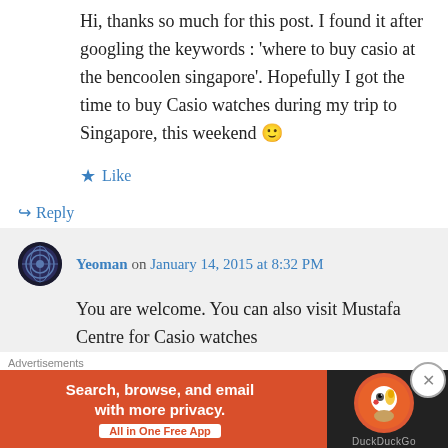Hi, thanks so much for this post. I found it after googling the keywords : 'where to buy casio at the bencoolen singapore'. Hopefully I got the time to buy Casio watches during my trip to Singapore, this weekend 🙂
Like
Reply
Yeoman on January 14, 2015 at 8:32 PM
You are welcome. You can also visit Mustafa Centre for Casio watches
Advertisements
[Figure (screenshot): DuckDuckGo advertisement banner: orange background with text 'Search, browse, and email with more privacy. All in One Free App' and DuckDuckGo logo on dark background.]